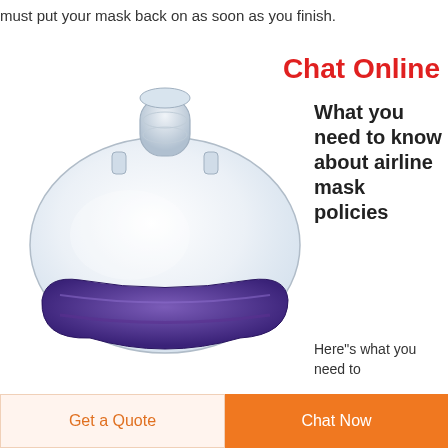must put your mask back on as soon as you finish.
Chat Online
[Figure (photo): A clear and purple CPAP/oxygen face mask with a circular valve at the top and purple silicone cushion rim at the bottom.]
What you need to know about airline mask policies
Here"s what you need to
Get a Quote
Chat Now